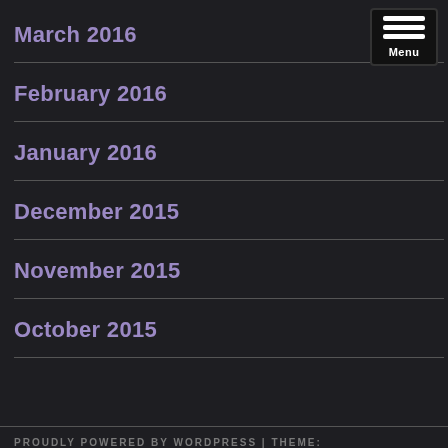March 2016
February 2016
January 2016
December 2015
November 2015
October 2015
PROUDLY POWERED BY WORDPRESS | THEME: